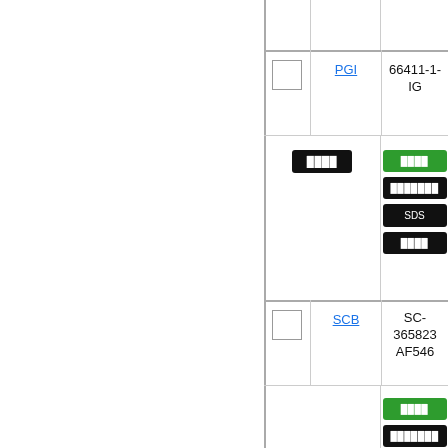|  | Name | Code | Actions |
| --- | --- | --- | --- |
|  | PGI | 66411-1-IG | buttons |
|  | SCB | SC-365823 AF546 | buttons |